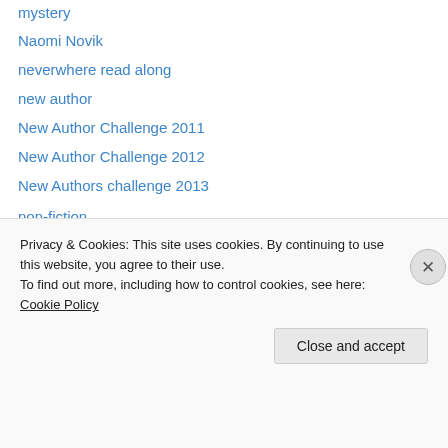mystery
Naomi Novik
neverwhere read along
new author
New Author Challenge 2011
New Author Challenge 2012
New Authors challenge 2013
non-fiction
novella
off the shelf 2012
Once Upon a Time IX
Once Upon a Time V
Once upon a time VI
Privacy & Cookies: This site uses cookies. By continuing to use this website, you agree to their use.
To find out more, including how to control cookies, see here: Cookie Policy
Close and accept